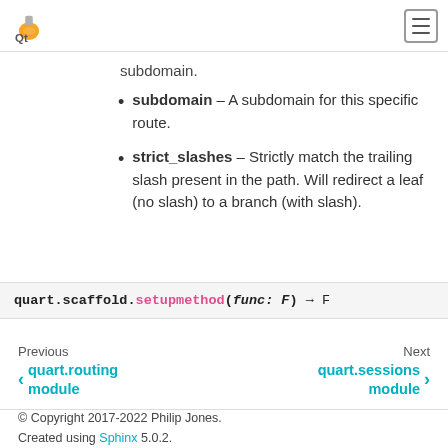Qt logo and hamburger menu
subdomain.
subdomain – A subdomain for this specific route.
strict_slashes – Strictly match the trailing slash present in the path. Will redirect a leaf (no slash) to a branch (with slash).
quart.scaffold.setupmethod(func: F) → F
Previous quart.routing module
Next quart.sessions module
© Copyright 2017-2022 Philip Jones. Created using Sphinx 5.0.2.